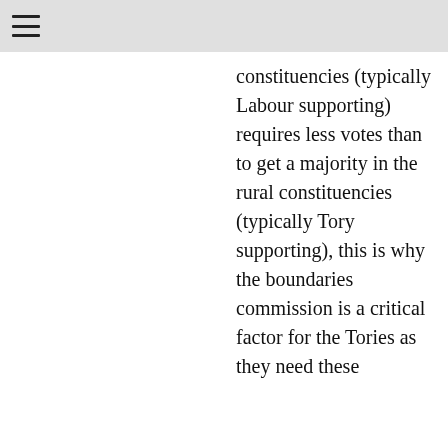≡
constituencies (typically Labour supporting) requires less votes than to get a majority in the rural constituencies (typically Tory supporting), this is why the boundaries commission is a critical factor for the Tories as they need these